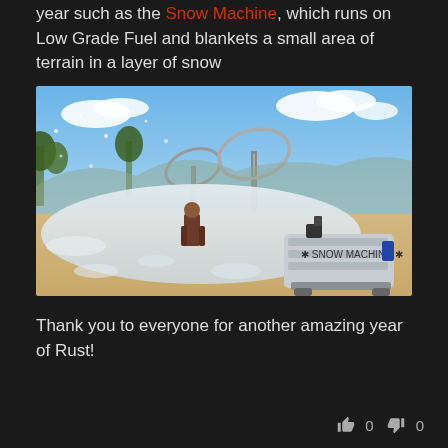year such as the Snow Machine, which runs on Low Grade Fuel and blankets a small area of terrain in a layer of snow
[Figure (screenshot): In-game screenshot from Rust showing a snow machine device in the foreground on sandy terrain, with a player character standing in a snowy area, large satellite dishes and trees in the background under a blue sky with clouds.]
Thank you to everyone for another amazing year of Rust!
0  0